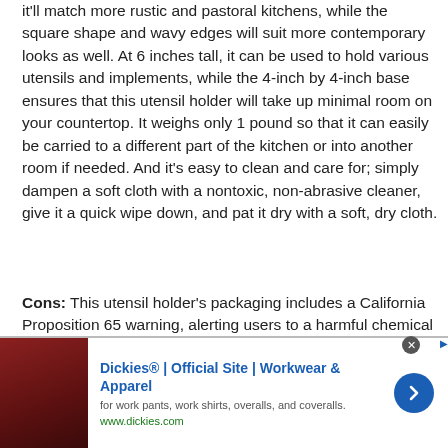it'll match more rustic and pastoral kitchens, while the square shape and wavy edges will suit more contemporary looks as well. At 6 inches tall, it can be used to hold various utensils and implements, while the 4-inch by 4-inch base ensures that this utensil holder will take up minimal room on your countertop. It weighs only 1 pound so that it can easily be carried to a different part of the kitchen or into another room if needed. And it's easy to clean and care for; simply dampen a soft cloth with a nontoxic, non-abrasive cleaner, give it a quick wipe down, and pat it dry with a soft, dry cloth.
Cons: This utensil holder's packaging includes a California Proposition 65 warning, alerting users to a harmful chemical identified as a carcinogen in California.
[Figure (other): Advertisement banner for Dickies Official Site - Workwear & Apparel. Shows a dark red/brown leather couch image on the left, Dickies brand name and tagline 'for work pants, work shirts, overalls, and coveralls.' with URL www.dickies.com, and a blue circular arrow button on the right.]